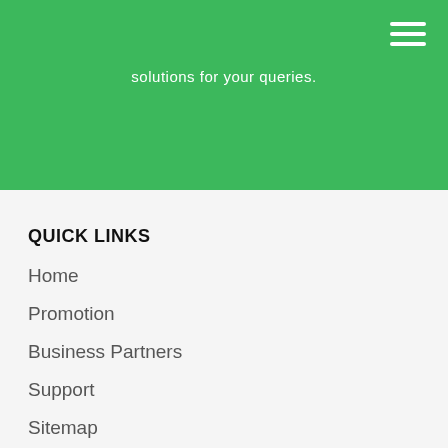solutions for your queries.
QUICK LINKS
Home
Promotion
Business Partners
Support
Sitemap
COMPANY
About Us
Privacy Policy
Refund Policy